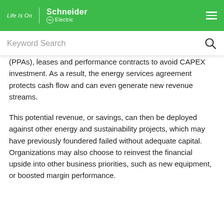Life Is On | Schneider Electric
(PPAs), leases and performance contracts to avoid CAPEX investment. As a result, the energy services agreement protects cash flow and can even generate new revenue streams.
This potential revenue, or savings, can then be deployed against other energy and sustainability projects, which may have previously foundered failed without adequate capital. Organizations may also choose to reinvest the financial upside into other business priorities, such as new equipment, or boosted margin performance.